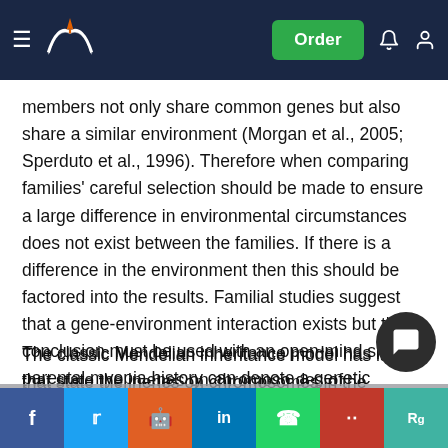Navigation bar with logo and Order button
members not only share common genes but also share a similar environment (Morgan et al., 2005; Sperduto et al., 1996). Therefore when comparing families' careful selection should be made to ensure a large difference in environmental circumstances does not exist between the families. If there is a difference in the environment then this should be factored into the results. Familial studies suggest that a gene-environment interaction exists but this conclusion must be used with an open-mind since parental myopia history can denote a genetic marker, a common lifestyle, or both (Saw at al., 2001; Young et al., 2007).
Mendelian inheritance
The classic Mendelian inheritance model has laws that state the inheritance of traits is carried on genes on chromosomes in the nucleus, passed on both sides of